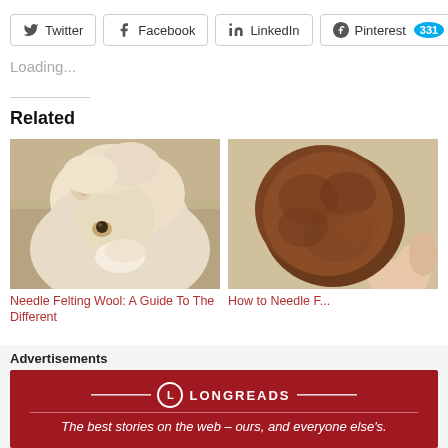Twitter  Facebook  LinkedIn  Pinterest 331
Loading...
Related
[Figure (photo): Close-up photo of a white/cream fluffy alpaca face]
Needle Felting Wool: A Guide To The Different
[Figure (photo): Hand holding a brown wool ball for needle felting]
How to Needle F...
Advertisements
[Figure (logo): Longreads advertisement banner: The best stories on the web – ours, and everyone else's.]